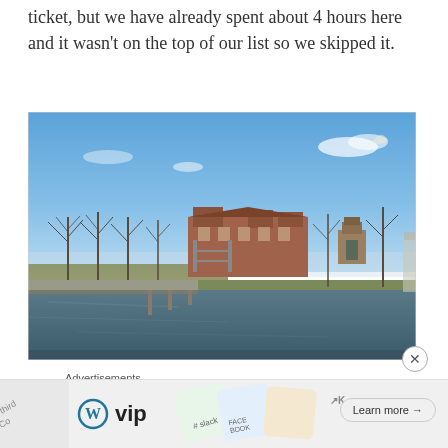ticket, but we have already spent about 4 hours here and it wasn't on the top of our list so we skipped it.
[Figure (photo): View from a boat or ferry showing Ellis Island or similar historic brick buildings along a waterway, with bare winter trees, a wide calm water channel, and a blue sky with light clouds.]
Advertisements
[Figure (other): Advertisement banner showing WordPress VIP logo, colorful overlapping card tiles (Slack, Facebook), and a 'Learn more →' button.]